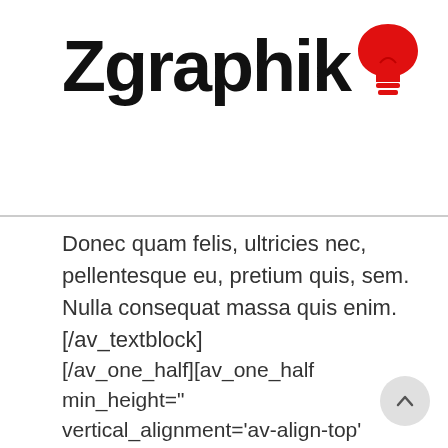[Figure (logo): Zgraphik logo — bold black text 'Zgraphik' with a red lightbulb icon replacing the letter O at the end]
Donec quam felis, ultricies nec, pellentesque eu, pretium quis, sem. Nulla consequat massa quis enim.
[/av_textblock]
[/av_one_half][av_one_half min_height=" vertical_alignment='av-align-top' space=" margin='0px' margin_sync='true' padding='0px' padding_sync='true' border=" border_color=" radius='0px' radius_sync='true' background_color=" sr attachment=" attachment_size=" background_position='top left'